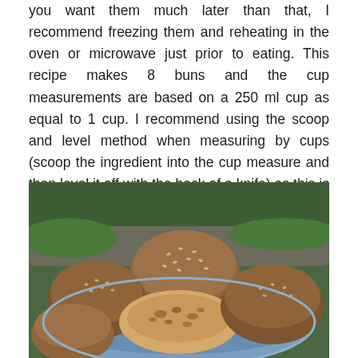you want them much later than that, I recommend freezing them and reheating in the oven or microwave just prior to eating. This recipe makes 8 buns and the cup measurements are based on a 250 ml cup as equal to 1 cup. I recommend using the scoop and level method when measuring by cups (scoop the ingredient into the cup measure and then level it off with the back of a knife) as this is more accurate than dipping the cup measure straight into the ingredient.
[Figure (photo): A plate of whole grain bread buns with sesame seeds on top, some cut open to show the interior with nuts or seeds visible inside, placed outdoors on a blue plate with green grass and stones in the background.]